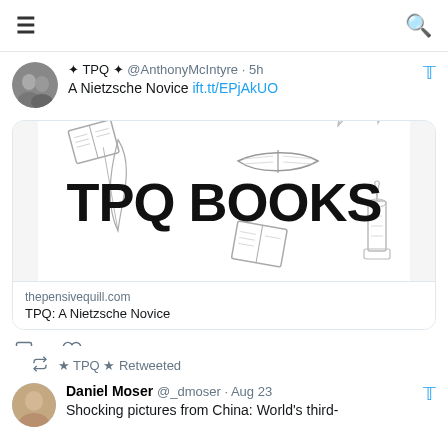≡  🔍
✦ TPQ ✦ @AnthonyMcIntyre · 5h
A Nietzsche Novice ift.tt/EPjAkUO
[Figure (illustration): TPQ Books logo with drawings of books, feather quills, and a candle on white background. Text reads 'TPQ BOOKS' in large bold stylized font.]
thepensivequill.com
TPQ: A Nietzsche Novice
↺ ★ TPQ ★ Retweeted
Daniel Moser @_dmoser · Aug 23
Shocking pictures from China: World's third-